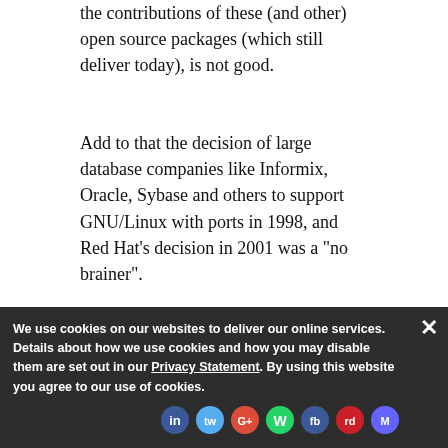the contributions of these (and other) open source packages (which still deliver today), is not good.
Add to that the decision of large database companies like Informix, Oracle, Sybase and others to support GNU/Linux with ports in 1998, and Red Hat's decision in 2001 was a "no brainer".
Another MAJOR factor in the spread of GNU/Linux was the creation of the "Beowulf" system, the creation of High ...
We use cookies on our websites to deliver our online services. Details about how we use cookies and how you may disable them are set out in our Privacy Statement. By using this website you agree to our use of cookies.